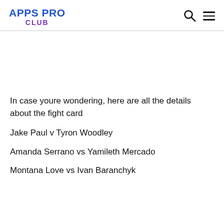APPS PRO CLUB
In case youre wondering, here are all the details about the fight card
Jake Paul v Tyron Woodley
Amanda Serrano vs Yamileth Mercado
Montana Love vs Ivan Baranchyk